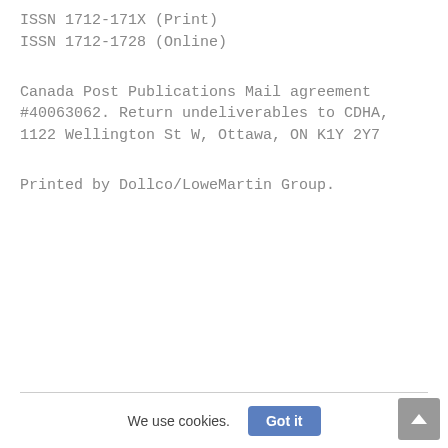ISSN 1712-171X (Print)
ISSN 1712-1728 (Online)
Canada Post Publications Mail agreement #40063062. Return undeliverables to CDHA, 1122 Wellington St W, Ottawa, ON K1Y 2Y7
Printed by Dollco/LoweMartin Group.